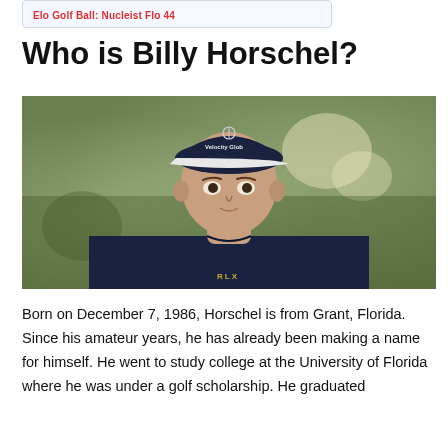Elo Golf Ball: Nucleist Flo 44
Who is Billy Horschel?
[Figure (photo): Billy Horschel wearing a navy blue polo shirt with RLX logo and a Velocity Global branded cap, photographed outdoors with blurred green background.]
Born on December 7, 1986, Horschel is from Grant, Florida. Since his amateur years, he has already been making a name for himself. He went to study college at the University of Florida where he was under a golf scholarship. He graduated